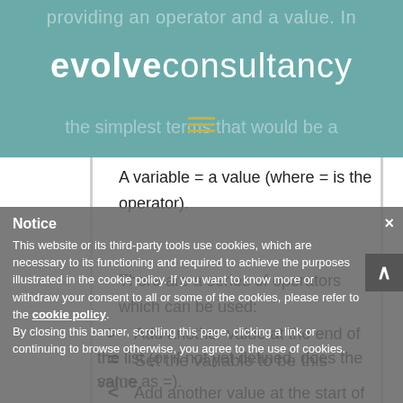evolve consultancy
A variable = a value (where = is the operator).
There are a series of operators which can be used:
=   Set the variable to be this value.
>   Add another value at the end of the list (or if not yet defined, does the same as =).
<   Add another value at the start of
Notice
This website or its third-party tools use cookies, which are necessary to its functioning and required to achieve the purposes illustrated in the cookie policy. If you want to know more or withdraw your consent to all or some of the cookies, please refer to the cookie policy.
By closing this banner, scrolling this page, clicking a link or continuing to browse otherwise, you agree to the use of cookies.